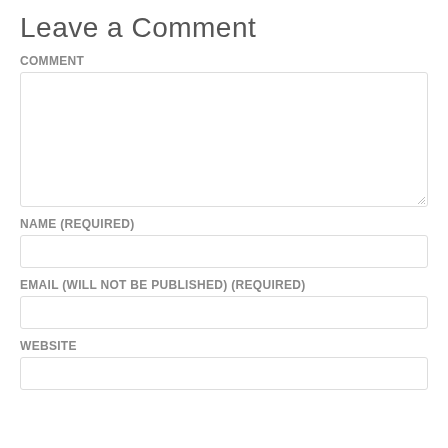Leave a Comment
Comment
Name (required)
Email (will not be published) (required)
Website